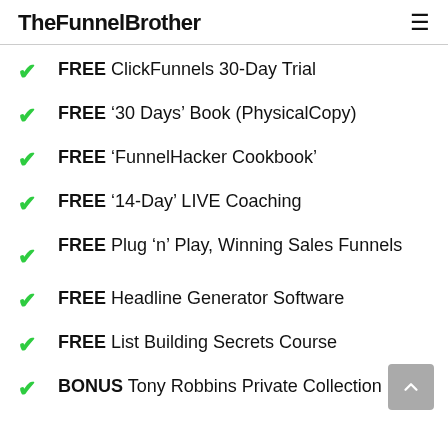TheFunnelBrother
FREE ClickFunnels 30-Day Trial
FREE '30 Days' Book (PhysicalCopy)
FREE 'FunnelHacker Cookbook'
FREE '14-Day' LIVE Coaching
FREE Plug 'n' Play, Winning Sales Funnels
FREE Headline Generator Software
FREE List Building Secrets Course
BONUS Tony Robbins Private Collection